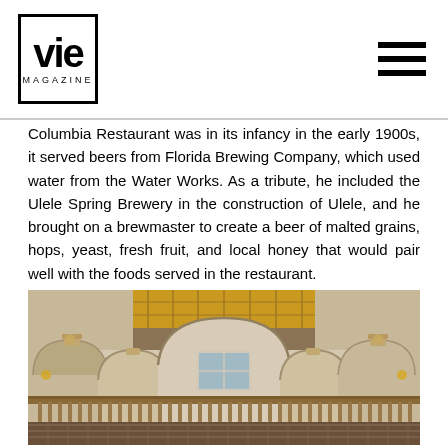VIE MAGAZINE
Columbia Restaurant was in its infancy in the early 1900s, it served beers from Florida Brewing Company, which used water from the Water Works. As a tribute, he included the Ulele Spring Brewery in the construction of Ulele, and he brought on a brewmaster to create a beer of malted grains, hops, yeast, fresh fruit, and local honey that would pair well with the foods served in the restaurant.
[Figure (photo): Interior of a grand restaurant with white arched colonnades, decorative tilework, ornate balconies, and a skylight ceiling with yellow-tinted glass panels]